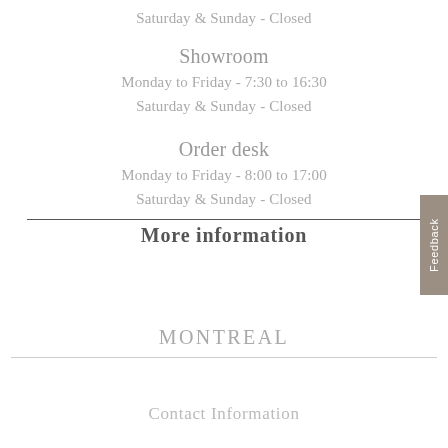Saturday & Sunday - Closed
Showroom
Monday to Friday - 7:30 to 16:30
Saturday & Sunday - Closed
Order desk
Monday to Friday - 8:00 to 17:00
Saturday & Sunday - Closed
More information
MONTREAL
Contact Information